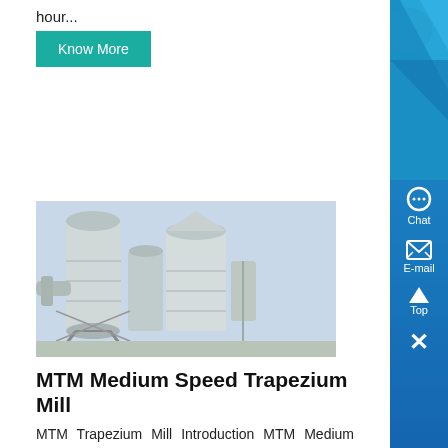hour...
Know More
[Figure (photo): Industrial MTM Medium Speed Trapezium Mill machinery — large white industrial grinding mill structure with silos, pipes, and metal framework]
MTM Medium Speed Trapezium Mill
MTM Trapezium Mill Introduction MTM Medium Speed Trapezium grinder is a leading-world-level industrial mill is designed by our own engineers and technical workers basing on industrial mill research of many years and adopting world-leading-powder...
Know More